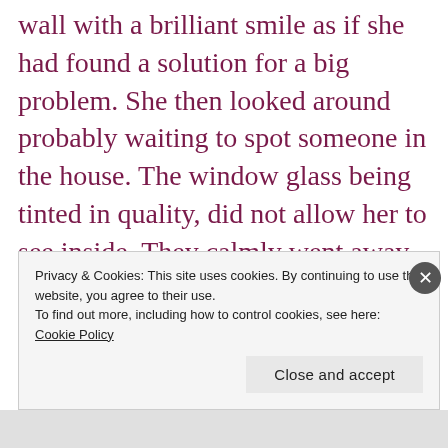wall with a brilliant smile as if she had found a solution for a big problem. She then looked around probably waiting to spot someone in the house. The window glass being tinted in quality, did not allow her to see inside. They calmly went away. I was smiling with joy even when my pretty rose was harshly plucked by the girl! I went out and collected the chocolates she had left as her token of apologies. Children grow up following the
Privacy & Cookies: This site uses cookies. By continuing to use this website, you agree to their use.
To find out more, including how to control cookies, see here: Cookie Policy
Close and accept